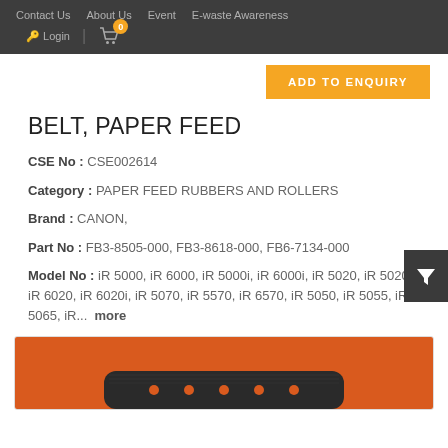Contact Us   About Us   Event   E-waste Awareness   Login
ADD TO ENQUIRY
BELT, PAPER FEED
CSE No : CSE002614
Category : PAPER FEED RUBBERS AND ROLLERS
Brand : CANON,
Part No : FB3-8505-000, FB3-8618-000, FB6-7134-000
Model No : iR 5000, iR 6000, iR 5000i, iR 6000i, iR 5020, iR 5020i, iR 6020, iR 6020i, iR 5070, iR 5570, iR 6570, iR 5050, iR 5055, iR 5065, iR... more
[Figure (photo): Photo of a black rubber belt/pad component for paper feed, on an orange/red background]